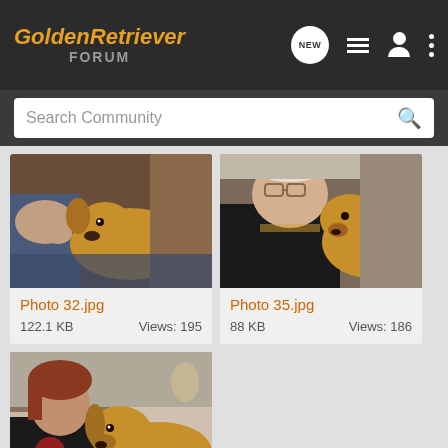[Figure (logo): GoldenRetriever Forum logo in orange and grey on dark background]
Search Community
[Figure (photo): Photo of a golden retriever lying with a person, warm tones]
Photo 32.jpg
122.1 KB    Views: 195
[Figure (photo): Photo of a person smiling with a golden retriever]
Photo 35.jpg
88 KB    Views: 186
[Figure (photo): Photo of a woman and a golden retriever indoors]
Photo 27.jpg
82.6 KB    Views: 185